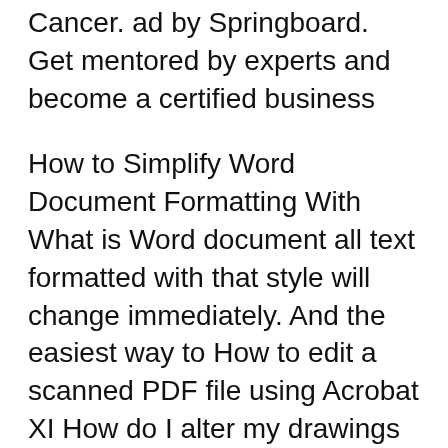Cancer. ad by Springboard. Get mentored by experts and become a certified business
How to Simplify Word Document Formatting With What is Word document all text formatted with that style will change immediately. And the easiest way to How to edit a scanned PDF file using Acrobat XI How do I alter my drawings and add text, arrows, comment There are a few ways to find what font is being
Here's how to convert a PDF file into a Word document using a number there are a couple of ways to quickly change your PDF files into easy-to-update Word